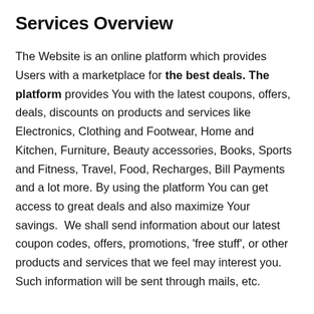Services Overview
The Website is an online platform which provides Users with a marketplace for the best deals. The platform provides You with the latest coupons, offers, deals, discounts on products and services like Electronics, Clothing and Footwear, Home and Kitchen, Furniture, Beauty accessories, Books, Sports and Fitness, Travel, Food, Recharges, Bill Payments and a lot more. By using the platform You can get access to great deals and also maximize Your savings.  We shall send information about our latest coupon codes, offers, promotions, 'free stuff', or other products and services that we feel may interest you. Such information will be sent through mails, etc.